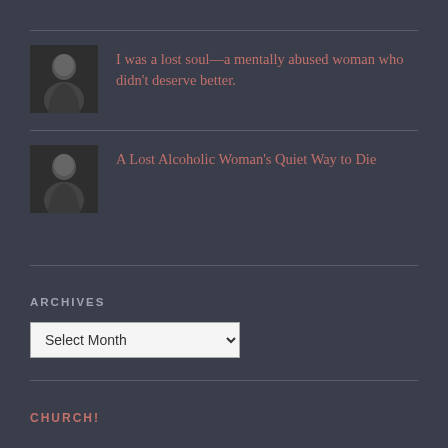I was a lost soul—a mentally abused woman who didn't deserve better.
A Lost Alcoholic Woman's Quiet Way to Die
ARCHIVES
Select Month
CHURCH!